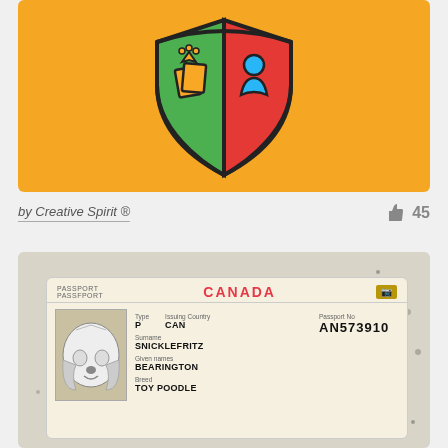[Figure (illustration): Orange background card with a shield logo split green and red, featuring a crown/cards icon on the left and a person/meeple icon on the right]
by Creative Spirit ®
45
[Figure (illustration): Canada passport for a dog named SNICKLEFRITZ BEARINGTON, Toy Poodle breed, passport number AN573910, with distressed/splatter texture overlay]